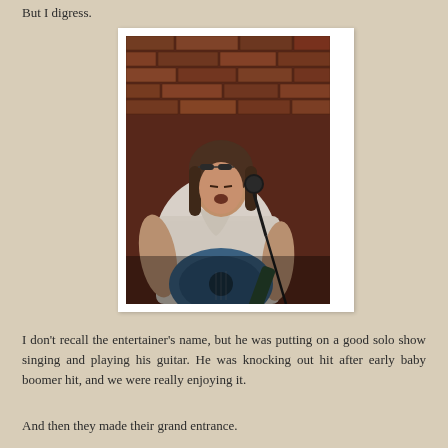But I digress.
[Figure (photo): A man with shoulder-length brown hair and sunglasses on his head, singing into a microphone and playing a blue acoustic guitar. He is wearing a white patterned shirt. The background is a red brick wall.]
I don't recall the entertainer's name, but he was putting on a good solo show singing and playing his guitar. He was knocking out hit after early baby boomer hit, and we were really enjoying it.
And then they made their grand entrance.